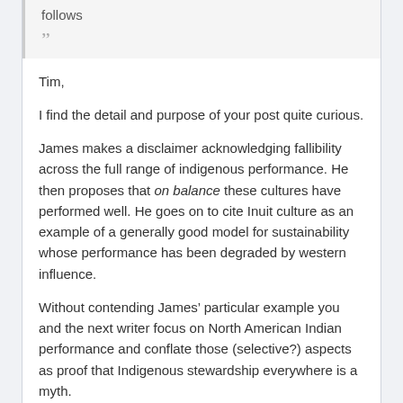follows
”
Tim,
I find the detail and purpose of your post quite curious.
James makes a disclaimer acknowledging fallibility across the full range of indigenous performance. He then proposes that on balance these cultures have performed well. He goes on to cite Inuit culture as an example of a generally good model for sustainability whose performance has been degraded by western influence.
Without contending James’ particular example you and the next writer focus on North American Indian performance and conflate those (selective?) aspects as proof that Indigenous stewardship everywhere is a myth.
However, even if as poor as you suppose, North American Indians were: